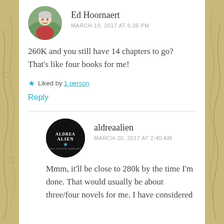Ed Hoornaert
MARCH 19, 2017 AT 6:36 PM
260K and you still have 14 chapters to go? That’s like four books for me!
★ Liked by 1 person
Reply
aldreaalien
MARCH 20, 2017 AT 2:40 AM
Mmm, it’ll be close to 280k by the time I’m done. That would usually be about three/four novels for me. I have considered